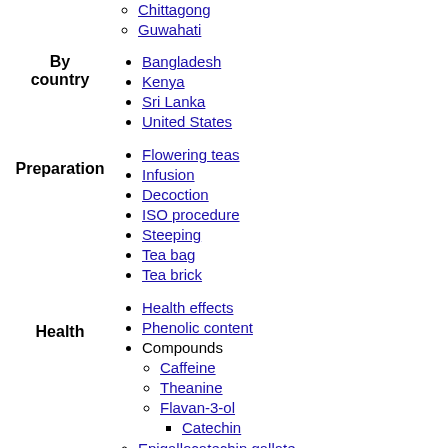London
Chittagong
Guwahati
By country
Bangladesh
Kenya
Sri Lanka
United States
Preparation
Flowering teas
Infusion
Decoction
ISO procedure
Steeping
Tea bag
Tea brick
Health
Health effects
Phenolic content
Compounds
Caffeine
Theanine
Flavan-3-ol
Catechin
Epigallocatechin gallate